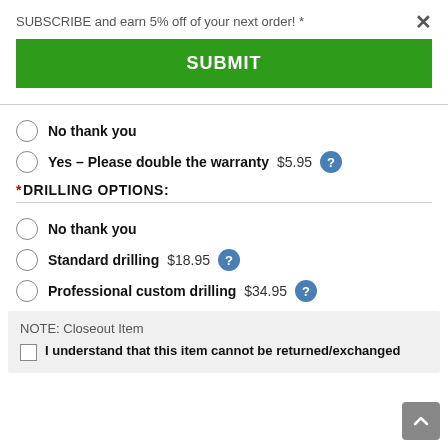SUBSCRIBE and earn 5% off of your next order! *
SUBMIT
No thank you
Yes – Please double the warranty  $5.95
*DRILLING OPTIONS:
No thank you
Standard drilling  $18.95
Professional custom drilling  $34.95
NOTE: Closeout Item
I understand that this item cannot be returned/exchanged